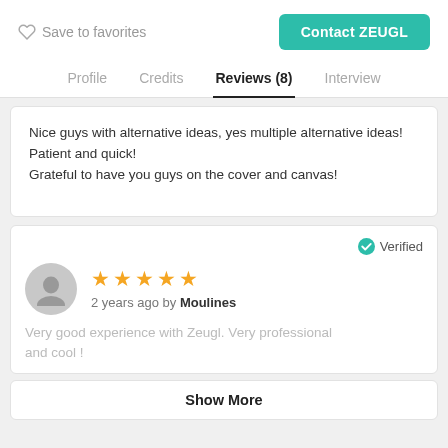Save to favorites | Contact ZEUGL
Profile   Credits   Reviews (8)   Interview
Nice guys with alternative ideas, yes multiple alternative ideas!
Patient and quick!
Grateful to have you guys on the cover and canvas!
Verified
2 years ago by Moulines
Very good experience with Zeugl. Very professional and cool !
Show More